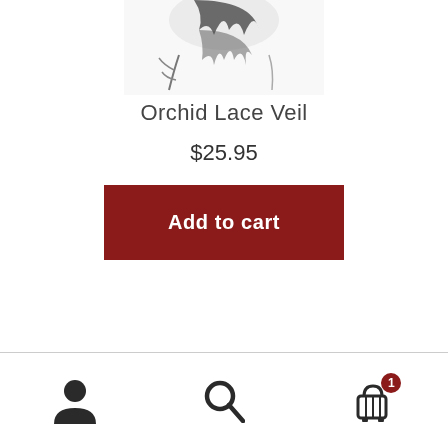[Figure (photo): Partial product image of an Orchid Lace Veil, showing dark lace fabric detail against white background, cropped at top]
Orchid Lace Veil
$25.95
Add to cart
[Figure (infographic): Bottom navigation bar with three icons: user/account icon on left, search/magnifying glass icon in center, shopping cart icon with badge showing '1' on right]